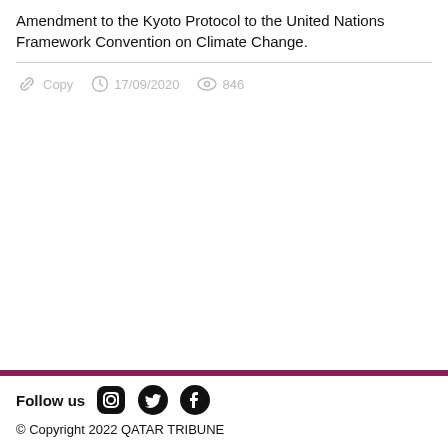Amendment to the Kyoto Protocol to the United Nations Framework Convention on Climate Change.
Copy  17/09/2020  846
Follow us  © Copyright 2022 QATAR TRIBUNE